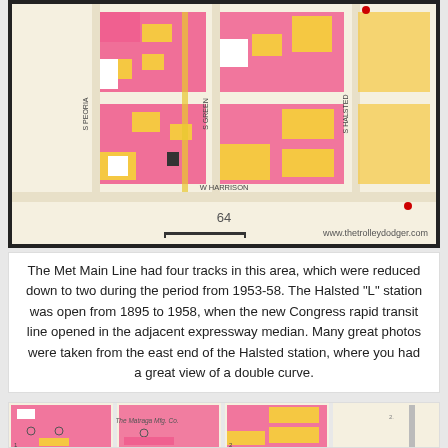[Figure (map): Sanborn fire insurance map showing city blocks near W Harrison street in Chicago, with pink and yellow building footprints, street labels for S Peoria, S Green, S Halsted, and W Harrison. Page number 64 visible. Watermark: www.thetrolleydodger.com]
The Met Main Line had four tracks in this area, which were reduced down to two during the period from 1953-58. The Halsted “L” station was open from 1895 to 1958, when the new Congress rapid transit line opened in the adjacent expressway median. Many great photos were taken from the east end of the Halsted station, where you had a great view of a double curve.
[Figure (map): Partial Sanborn fire insurance maps showing four panels of city blocks with pink and yellow building footprints, including a label reading 'The Matraga Mfg. Co.' Numbers 1 and 2 visible on panels.]